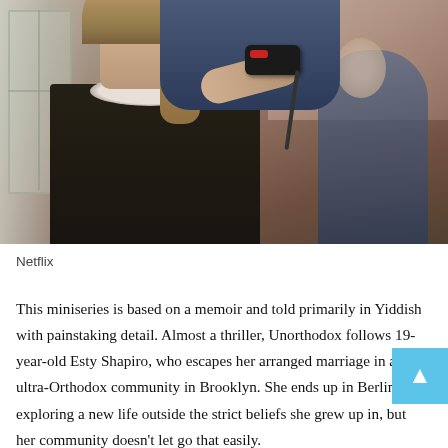[Figure (photo): A young woman seated in a dark patterned dress with a white lace collar, having her hair worked on by someone in a dark blue floral dress standing behind her. Another figure is visible in the background. The scene appears to be indoors near a window.]
Netflix
This miniseries is based on a memoir and told primarily in Yiddish with painstaking detail. Almost a thriller, Unorthodox follows 19-year-old Esty Shapiro, who escapes her arranged marriage in an ultra-Orthodox community in Brooklyn. She ends up in Berlin, exploring a new life outside the strict beliefs she grew up in, but her community doesn't let go that easily.